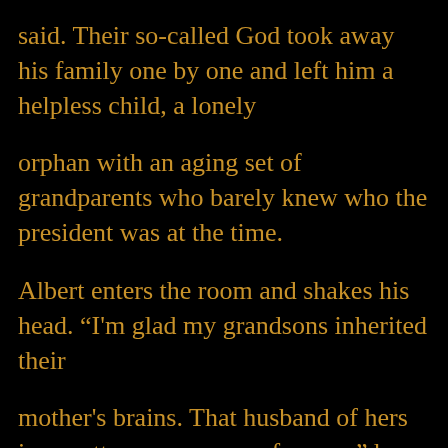said. Their so-called God took away his family one by one and left him a helpless child, a lonely orphan with an aging set of grandparents who barely knew who the president was at the time.
Albert enters the room and shakes his head. “I'm glad my grandsons inherited their mother's brains. That husband of hers is a pretty poor excuse of a man,” he announces.
Sam Jackson glowers at him. “Well, I’m sooo